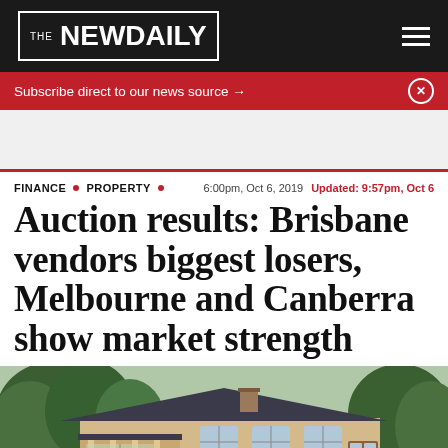THE NEWDAILY
Subscribe direct to our news source →
FINANCE • PROPERTY • 6:00pm, Oct 6, 2019 Updated: 9:57pm, Oct 6
Auction results: Brisbane vendors biggest losers, Melbourne and Canberra show market strength
[Figure (photo): Exterior photo of a brick house with a large covered porch and dark tiled roof, surrounded by trees]